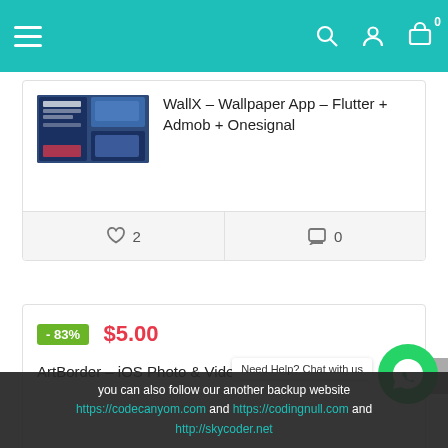Navigation header with hamburger menu, search, user, and cart icons (0 items)
[Figure (screenshot): Product thumbnail for WallX Wallpaper App showing app UI screenshots]
WallX – Wallpaper App – Flutter + Admob + Onesignal
♡ 2    💬 0
- 83%  $5.00
ArtBorder – iOS Photo & Video Editor 1.0.1
♡ 0    💬 0
- 82%  $7.00
Need Help? Chat with us
you can also follow our another backup website https://codecanyom.com and https://codingnull.com and http://skycoder.net